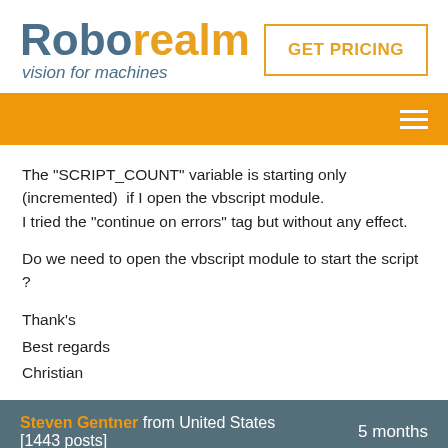[Figure (logo): RoboRealm logo with 'Robo' in dark blue-grey and 'realm' in orange, tagline 'vision for machines' in italic blue-grey]
GET PRICING
[Figure (other): Orange navigation bar with hamburger menu icon on the right]
The "SCRIPT_COUNT" variable is starting only (incremented)  if I open the vbscript module.
I tried the "continue on errors" tag but without any effect.
Do we need to open the vbscript module to start the script ?
Thank's
Best regards
Christian
Steven Gentner from United States
[1443 posts]
5 months